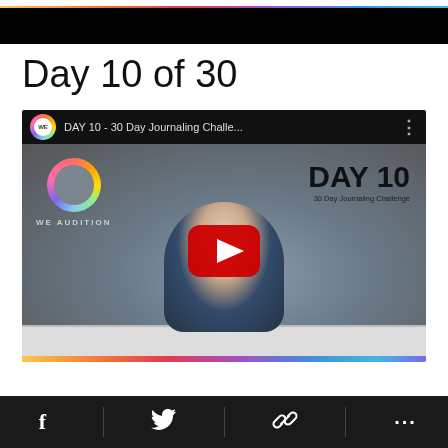[Figure (infographic): Rainbow gradient top bar]
[Figure (screenshot): YouTube video embed showing DAY 10 - 30 Day Journaling Challenge with a man in blue shirt seated on white couch, WE Audition logo on left, DAY 10 / 30 Day Journaling Challenge text on right, red YouTube play button in center]
Day 10 of 30
[Figure (infographic): Bottom social share bar with Facebook, Twitter, link, and more icons on dark background]